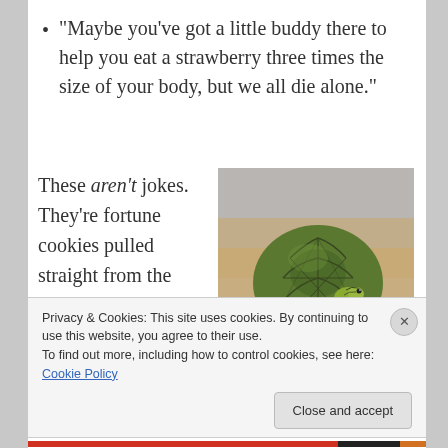“Maybe you’ve got a little buddy there to help you eat a strawberry three times the size of your body, but we all die alone.”
These aren’t jokes. They’re fortune cookies pulled straight from the Devil’s ruddy bum.
[Figure (photo): A tiny baby turtle sitting on a person’s finger or coin, showing the green patterned shell from above.]
Privacy & Cookies: This site uses cookies. By continuing to use this website, you agree to their use.
To find out more, including how to control cookies, see here: Cookie Policy